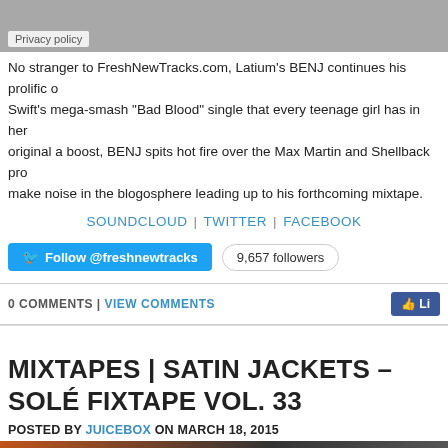[Figure (other): Gray banner with Privacy policy label at bottom left]
No stranger to FreshNewTracks.com, Latium's BENJ continues his prolific o... Swift's mega-smash "Bad Blood" single that every teenage girl has in her ... original a boost, BENJ spits hot fire over the Max Martin and Shellback pro... make noise in the blogosphere leading up to his forthcoming mixtape.
SOUNDCLOUD | TWITTER | FACEBOOK
Follow @freshnewtracks  9,657 followers
0 COMMENTS | VIEW COMMENTS
MIXTAPES | SATIN JACKETS – SOLÉ FIXTAPE VOL. 33
POSTED BY JUICEBOX ON MARCH 18, 2015
[Figure (photo): Thumbnail image strip at bottom, orange and dark tones]